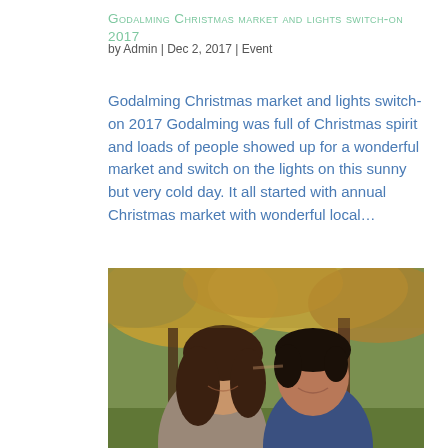Godalming Christmas market and lights switch-on 2017
by Admin | Dec 2, 2017 | Event
Godalming Christmas market and lights switch-on 2017 Godalming was full of Christmas spirit and loads of people showed up for a wonderful market and switch on the lights on this sunny but very cold day. It all started with annual Christmas market with wonderful local…
[Figure (photo): Photo of a smiling couple outdoors in autumn, with trees showing fall foliage in the background]